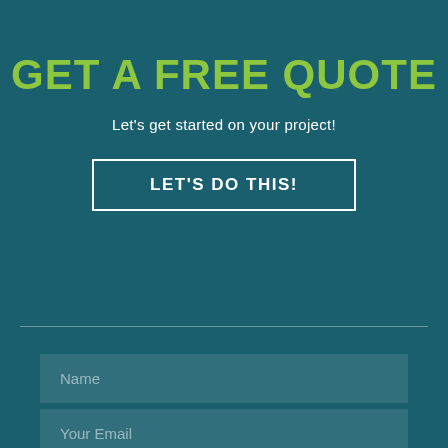GET A FREE QUOTE
Let's get started on your project!
LET'S DO THIS!
Name
Your Email